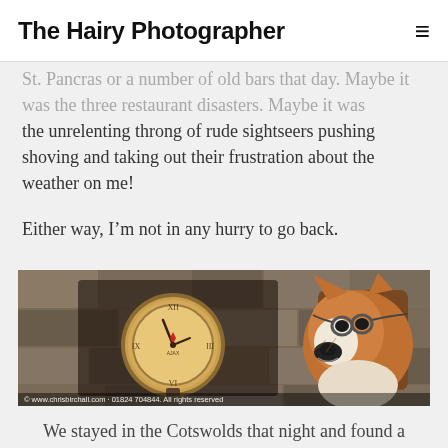The Hairy Photographer
the unrelenting throng of rude sightseers pushing shoving and taking out their frustration about the weather on me!
Either way, I'm not in any hurry to go back.
[Figure (photo): A mounted fox head wearing aviator goggles on a stone wall, next to an antique clock. Watermark reads: © www.chrisbirchall.com · 01824 704844. All rights reserved]
We stayed in the Cotswolds that night and found a lovely pub with a warm welcome. But somebody really should have told foxy that it had been a dull day,